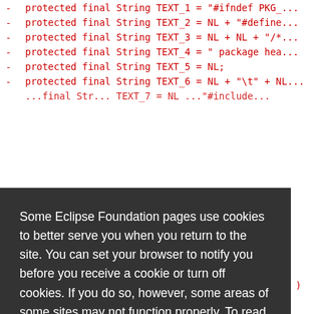- protected final String TEXT_1 = "#ifndef PKG_...
- protected final String TEXT_2 = NL + "#define...
- protected final String TEXT_3 = NL + NL + "/*...
- protected final String TEXT_4 = " package hea...
- protected final String TEXT_5 = NL;
- protected final String TEXT_6 = NL + "\t" + NL...
- ...TEXT_7... NL ..."#include...
NL + "/...
"/* Type...
NL + "/...
ckage hea...
)
- final StringBuffer stringBuffer = new String...
Some Eclipse Foundation pages use cookies to better serve you when you return to the site. You can set your browser to notify you before you receive a cookie or turn off cookies. If you do so, however, some areas of some sites may not function properly. To read Eclipse Foundation Privacy Policy
click here.